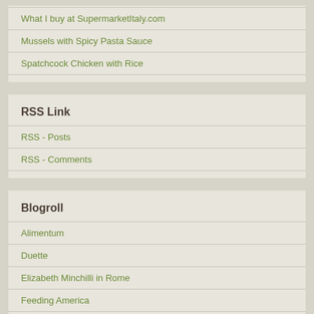What I buy at SupermarketItaly.com
Mussels with Spicy Pasta Sauce
Spatchcock Chicken with Rice
RSS Link
RSS - Posts
RSS - Comments
Blogroll
Alimentum
Duette
Elizabeth Minchilli in Rome
Feeding America